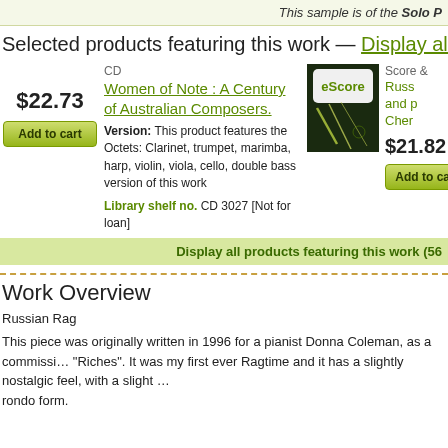This sample is of the Solo P
Selected products featuring this work — Display all product
CD
Women of Note : A Century of Australian Composers.
Version: This product features the Octets: Clarinet, trumpet, marimba, harp, violin, viola, cello, double bass version of this work
Library shelf no. CD 3027 [Not for loan]
$22.73
Add to cart
[Figure (photo): eScore product image - dark background with green escore logo and plant imagery]
Score &
Russ
and p
Cher
$21.82
Add to cart
Display all products featuring this work (56
Work Overview
Russian Rag
This piece was originally written in 1996 for a pianist Donna Coleman, as a commissi… "Riches". It was my first ever Ragtime and it has a slightly nostalgic feel, with a slight … rondo form.